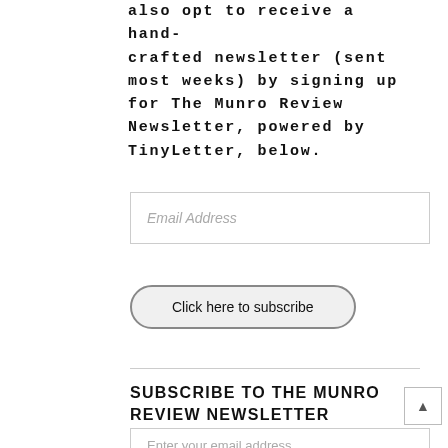also opt to receive a hand-crafted newsletter (sent most weeks) by signing up for The Munro Review Newsletter, powered by TinyLetter, below.
[Figure (other): Email Address input field with placeholder text]
[Figure (other): Click here to subscribe button]
SUBSCRIBE TO THE MUNRO REVIEW NEWSLETTER
[Figure (other): Enter your email address input field]